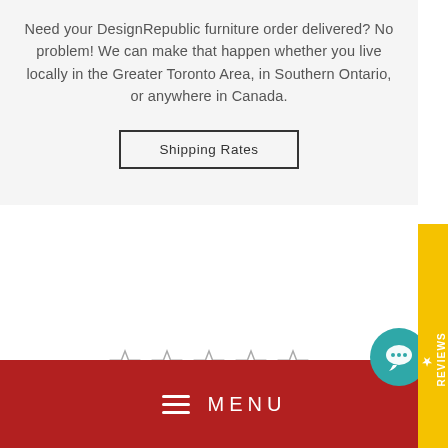Need your DesignRepublic furniture order delivered? No problem! We can make that happen whether you live locally in the Greater Toronto Area, in Southern Ontario, or anywhere in Canada.
Shipping Rates
[Figure (other): Yellow vertical REVIEWS tab on right side with star icon]
[Figure (other): Five empty star rating icons in a row]
MENU
[Figure (other): Teal circular chat/message button icon]